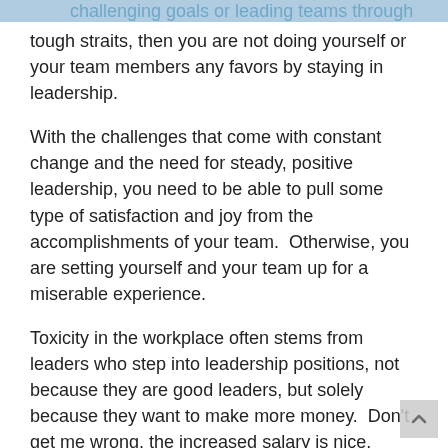challenging goals or leading teams through tough straits, then you are not doing yourself or your team members any favors by staying in leadership.
With the challenges that come with constant change and the need for steady, positive leadership, you need to be able to pull some type of satisfaction and joy from the accomplishments of your team.  Otherwise, you are setting yourself and your team up for a miserable experience.
Toxicity in the workplace often stems from leaders who step into leadership positions, not because they are good leaders, but solely because they want to make more money.  Don't get me wrong, the increased salary is nice.